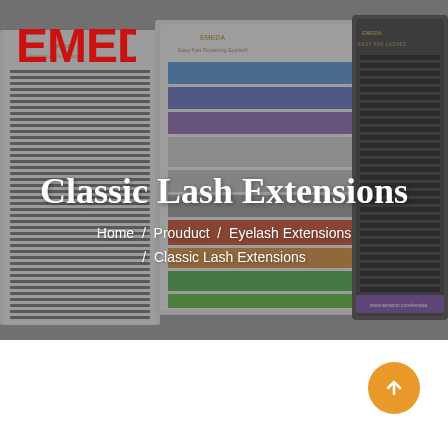[Figure (photo): Hero banner showing multiple EMEDA eyelash extension product trays with colorful lash rows (black, blue, purple, red, green) on a dark overlay background]
Classic Lash Extensions
Home / Prouduct / Eyelash Extensions / Classic Lash Extensions